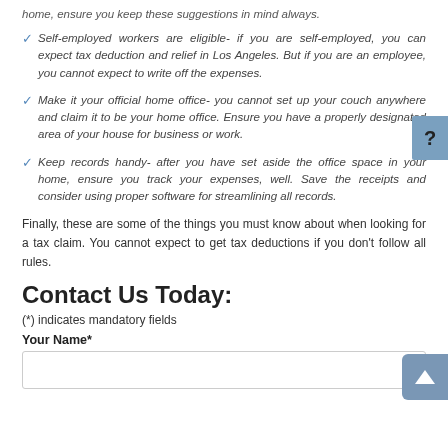home, ensure you keep these suggestions in mind always.
Self-employed workers are eligible- if you are self-employed, you can expect tax deduction and relief in Los Angeles. But if you are an employee, you cannot expect to write off the expenses.
Make it your official home office- you cannot set up your couch anywhere and claim it to be your home office. Ensure you have a properly designated area of your house for business or work.
Keep records handy- after you have set aside the office space in your home, ensure you track your expenses, well. Save the receipts and consider using proper software for streamlining all records.
Finally, these are some of the things you must know about when looking for a tax claim. You cannot expect to get tax deductions if you don't follow all rules.
Contact Us Today:
(*) indicates mandatory fields
Your Name*